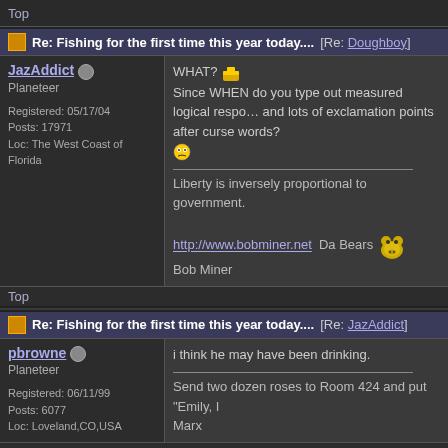Top
Re: Fishing for the first time this year today.... [Re: Doughboy]
JazAddict
Planeteer
Registered: 05/17/04
Posts: 17971
Loc: The West Coast of Florida
WHAT? Since WHEN do you type out measured logical responses and lots of exclamation points after curse words?
Liberty is inversely proportional to government.
http://www.bobminer.net  Da Bears
Bob Miner
Top
Re: Fishing for the first time this year today.... [Re: JazAddict]
pbrowne
Planeteer
Registered: 06/11/99
Posts: 6077
Loc: Loveland,CO,USA
i think he may have been drinking.
Send two dozen roses to Room 424 and put "Emily, I love you" on the card.
Marx
Top
Re: Fishing for the first time this year today.... [Re: SkyWave]